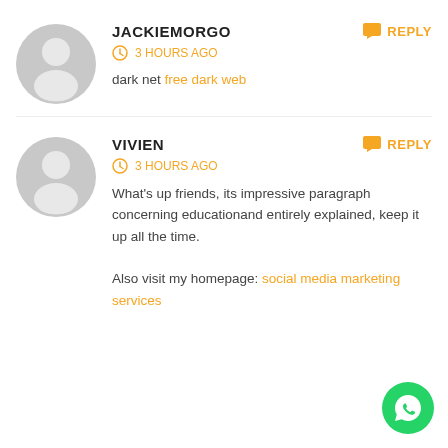[Figure (illustration): Gray avatar icon (silhouette of a person) for user JACKIEMORGO]
JACKIEMORGO
REPLY
3 HOURS AGO
dark net free dark web
[Figure (illustration): Gray avatar icon (silhouette of a person) for user VIVIEN]
VIVIEN
REPLY
3 HOURS AGO
What's up friends, its impressive paragraph concerning educationand entirely explained, keep it up all the time.

Also visit my homepage: social media marketing services
[Figure (logo): WhatsApp green circular button with phone handset icon]